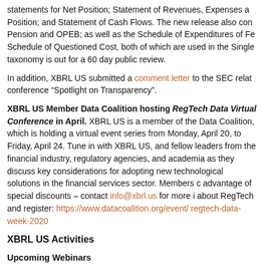statements for Net Position; Statement of Revenues, Expenses and Changes in Net Position; and Statement of Cash Flows. The new release also contains the Notes for Pension and OPEB; as well as the Schedule of Expenditures of Federal Awards and Schedule of Questioned Cost, both of which are used in the Single Audit. The taxonomy is out for a 60 day public review.
In addition, XBRL US submitted a comment letter to the SEC related to their conference “Spotlight on Transparency”.
XBRL US Member Data Coalition hosting RegTech Data Virtual Conference in April. XBRL US is a member of the Data Coalition, which is holding a virtual event series from Monday, April 20, to Friday, April 24. Tune in with XBRL US, and fellow leaders from the financial industry, regulatory agencies, and academia as they discuss key considerations for adopting new technological solutions in the financial services sector. Members can take advantage of special discounts – contact info@xbrl.us for more information about RegTech and register: https://www.datacoalition.org/event/regtech-data-week-2020
XBRL US Activities
Upcoming Webinars